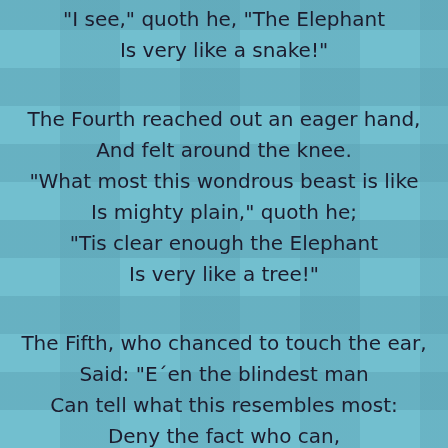"I see," quoth he, "The Elephant
Is very like a snake!"
The Fourth reached out an eager hand,
And felt around the knee.
"What most this wondrous beast is like
Is mighty plain," quoth he;
"Tis clear enough the Elephant
Is very like a tree!"
The Fifth, who chanced to touch the ear,
Said: "E´en the blindest man
Can tell what this resembles most:
Deny the fact who can,
This marvel of an Elephant